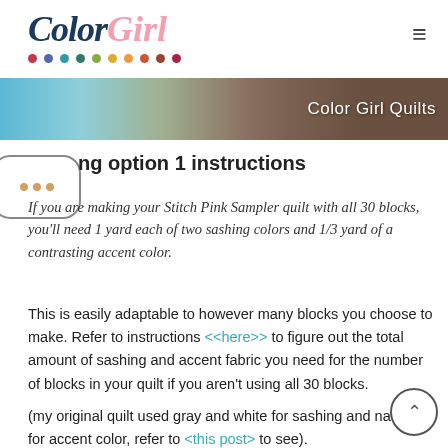Color Girl Quilts logo and navigation header
[Figure (photo): Banner image showing a blue cutting mat and wooden surface with text overlay 'Color Girl Quilts']
ng option 1 instructions
If you are making your Stitch Pink Sampler quilt with all 30 blocks, you'll need 1 yard each of two sashing colors and 1/3 yard of a contrasting accent color.
This is easily adaptable to however many blocks you choose to make. Refer to instructions <<here>> to figure out the total amount of sashing and accent fabric you need for the number of blocks in your quilt if you aren't using all 30 blocks.
(my original quilt used gray and white for sashing and navy for accent color, refer to <this post> to see).